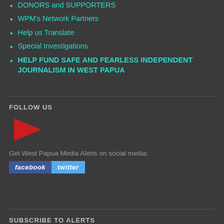DONORS and SUPPORTERS
WPM's Network Partners
Help us Translate
Special Investigations
HELP FUND SAFE AND FEARLESS INDEPENDENT JOURNALISM IN WEST PAPUA
FOLLOW US
[Figure (other): Red play button triangle icon]
Get West Papua Media Alerts on social media:
[Figure (other): Facebook and Twitter social media buttons]
SUBSCRIBE TO ALERTS